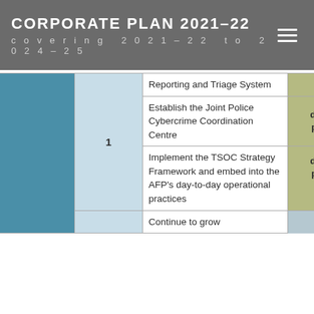CORPORATE PLAN 2021–22 covering 2021–22 to 2024–25
|  |  | Initiative | Status |
| --- | --- | --- | --- |
|  |  | Reporting and Triage System |  |
|  | 1 | Establish the Joint Police Cybercrime Coordination Centre | develo phase |
|  | 1 | Implement the TSOC Strategy Framework and embed into the AFP's day-to-day operational practices | develo phase ▲ |
|  |  | Continue to grow |  |